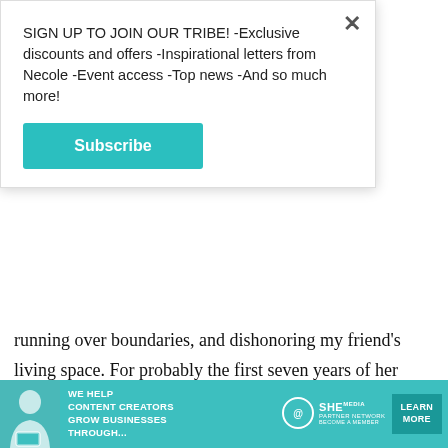SIGN UP TO JOIN OUR TRIBE! -Exclusive discounts and offers -Inspirational letters from Necole -Event access -Top news -And so much more!
Subscribe
running over boundaries, and dishonoring my friend's living space. For probably the first seven years of her marriage, a lot of what my friend would go off about is replaying nonsensical stuff that her mother-in-law would say, followed by a response along the lines of, "Who does that?" What I and her own mother have encouraged her to do is not listen so deeply to what comes out of her mother-in-law's
[Figure (other): Advertisement banner for SHE Media Partner Network. Teal background with text 'WE HELP CONTENT CREATORS GROW BUSINESSES THROUGH...' and SHE logo with 'LEARN MORE' button.]